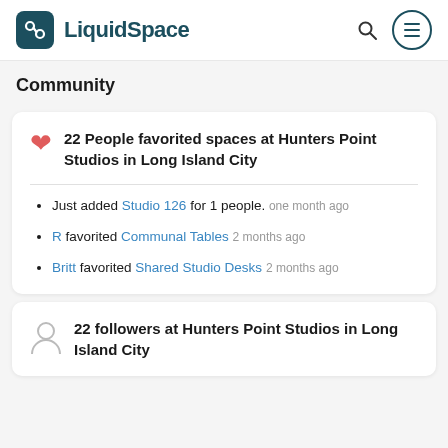LiquidSpace
Community
22 People favorited spaces at Hunters Point Studios in Long Island City
Just added Studio 126 for 1 people. one month ago
R favorited Communal Tables 2 months ago
Britt favorited Shared Studio Desks 2 months ago
22 followers at Hunters Point Studios in Long Island City